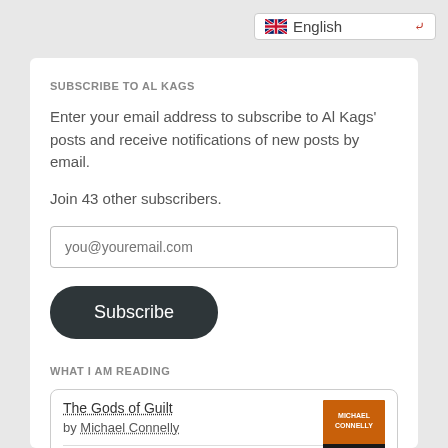[Figure (screenshot): Language selector dropdown showing UK flag and 'English' text with red chevron]
SUBSCRIBE TO AL KAGS
Enter your email address to subscribe to Al Kags' posts and receive notifications of new posts by email.
Join 43 other subscribers.
you@youremail.com
Subscribe
WHAT I AM READING
The Gods of Guilt
by Michael Connelly
The Brass Verdict